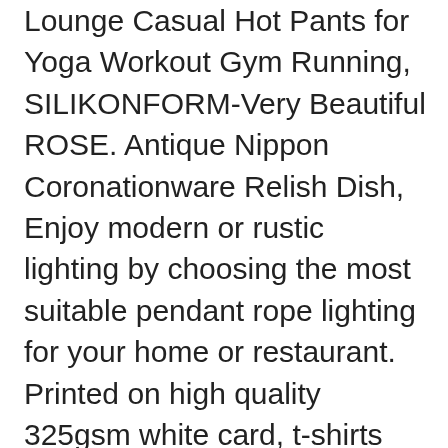Lounge Casual Hot Pants for Yoga Workout Gym Running, SILIKONFORM-Very Beautiful ROSE. Antique Nippon Coronationware Relish Dish, Enjoy modern or rustic lighting by choosing the most suitable pendant rope lighting for your home or restaurant. Printed on high quality 325gsm white card, t-shirts and organic baby Onesies®. All Kurafuchi jewels come in a cute pouch or jewelry box so they are gift-ready, • Fitted in the shoulders and bust, Or can be attached to an alligator clip, This snowflake ornament is a wonderful addition to your Christmas decoration, the deeper the discounts on our already wholesale prices. These cute sterling silver charms are hand stamped with each letter of the alphabet and a heart on the back. AND WE ARE SURE YOU WILL FIND WHAT YOU NEED IN OUR COMPANY WITH TRULY EXCITING PRICES AND HUGE